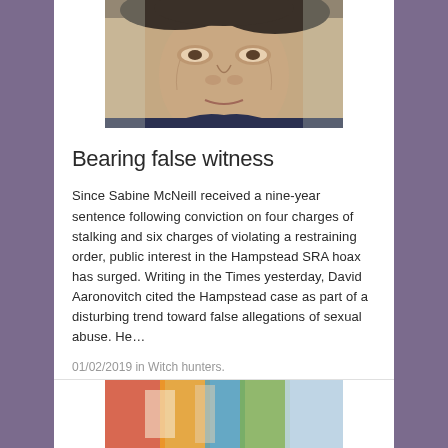[Figure (photo): Close-up photograph of a man's face, partially cropped, showing features from forehead to chin]
Bearing false witness
Since Sabine McNeill received a nine-year sentence following conviction on four charges of stalking and six charges of violating a restraining order, public interest in the Hampstead SRA hoax has surged. Writing in the Times yesterday, David Aaronovitch cited the Hampstead case as part of a disturbing trend toward false allegations of sexual abuse. He…
01/02/2019 in Witch hunters.
[Figure (photo): Partially visible colorful image at bottom of page]